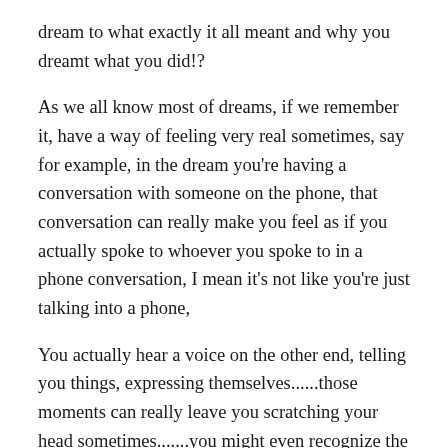dream to what exactly it all meant and why you dreamt what you did!?
As we all know most of dreams, if we remember it, have a way of feeling very real sometimes, say for example, in the dream you're having a conversation with someone on the phone, that conversation can really make you feel as if you actually spoke to whoever you spoke to in a phone conversation, I mean it's not like you're just talking into a phone,
You actually hear a voice on the other end, telling you things, expressing themselves......those moments can really leave you scratching your head sometimes.......you might even recognize the voice if